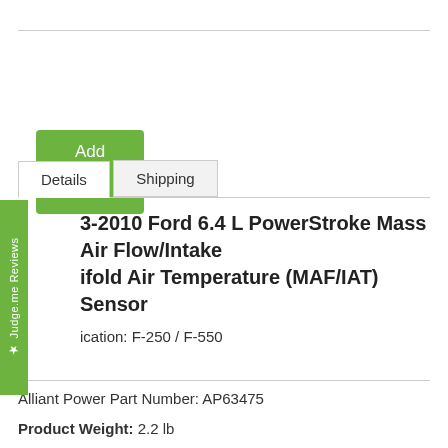Add to Cart
Details
Shipping
2003-2010 Ford 6.4 L PowerStroke Mass Air Flow/Intake Manifold Air Temperature (MAF/IAT) Sensor
Application: F-250 / F-550
Alliant Power Part Number: AP63475
Product Weight: 2.2 lb